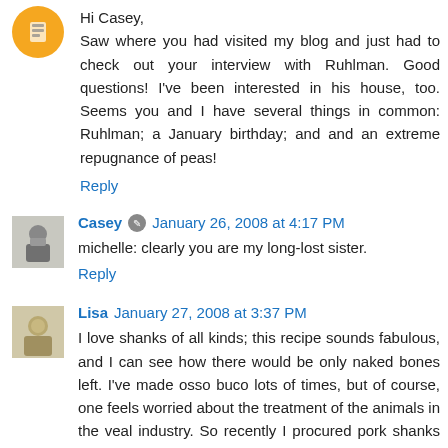Hi Casey,
Saw where you had visited my blog and just had to check out your interview with Ruhlman. Good questions! I've been interested in his house, too. Seems you and I have several things in common: Ruhlman; a January birthday; and and an extreme repugnance of peas!
Reply
Casey  January 26, 2008 at 4:17 PM
michelle: clearly you are my long-lost sister.
Reply
Lisa  January 27, 2008 at 3:37 PM
I love shanks of all kinds; this recipe sounds fabulous, and I can see how there would be only naked bones left. I've made osso buco lots of times, but of course, one feels worried about the treatment of the animals in the veal industry. So recently I procured pork shanks (and they are